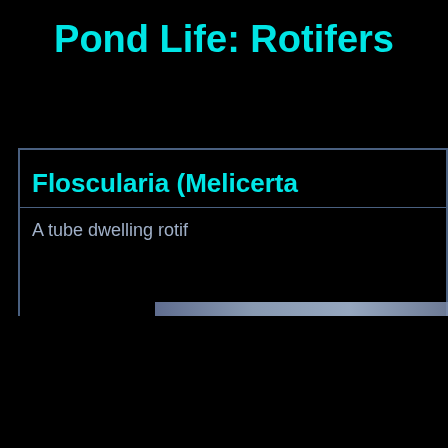Pond Life: Rotifers
Floscularia (Melicerta
A tube dwelling rotif